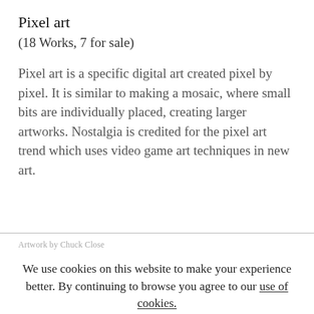Pixel art
(18 Works, 7 for sale)
Pixel art is a specific digital art created pixel by pixel. It is similar to making a mosaic, where small bits are individually placed, creating larger artworks. Nostalgia is credited for the pixel art trend which uses video game art techniques in new art.
Artwork by Chuck Close
We use cookies on this website to make your experience better. By continuing to browse you agree to our use of cookies.
ACCEPT
MORE INFO